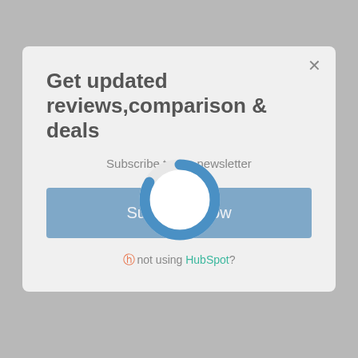[Figure (screenshot): A modal popup dialog on a grey background showing a newsletter subscription prompt with a loading spinner overlaid on top of the modal content.]
Get updated reviews,comparison & deals
Subscribe to our newsletter
Subscribe now
not using HubSpot?